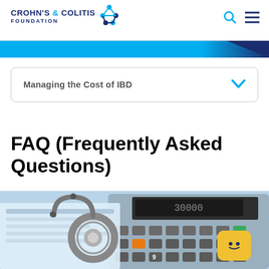Crohn's & Colitis Foundation — navigation bar with logo, search icon, and menu icon
Managing the Cost of IBD
FAQ (Frequently Asked Questions)
[Figure (photo): Close-up photo of a stethoscope on a calculator, representing medical cost management. A yellow chatbot icon appears in the bottom-right corner.]